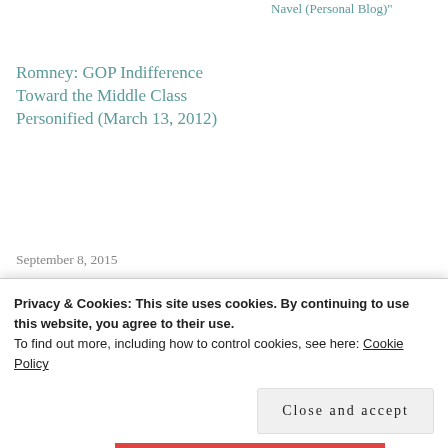Navel (Personal Blog)"
Romney: GOP Indifference Toward the Middle Class Personified (March 13, 2012)
September 8, 2015
In "Contemplating My Navel (Personal Blog)"
PoliticusUSA (Politics)
Chicago Bears, Green Bay Packers, Mitt Romney, NFL, President Obama
Privacy & Cookies: This site uses cookies. By continuing to use this website, you agree to their use.
To find out more, including how to control cookies, see here: Cookie Policy
Close and accept